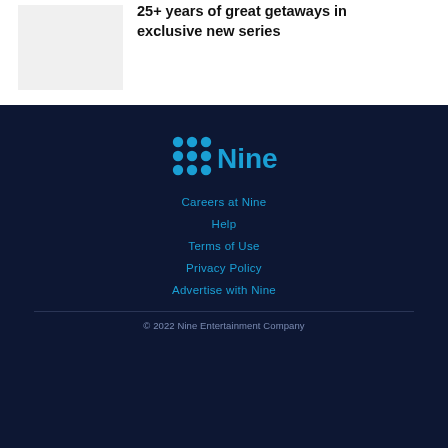[Figure (photo): Light grey placeholder image box in top-left corner]
25+ years of great getaways in exclusive new series
[Figure (logo): Nine network logo — blue dot grid followed by blue text 'Nine']
Careers at Nine
Help
Terms of Use
Privacy Policy
Advertise with Nine
© 2022 Nine Entertainment Company